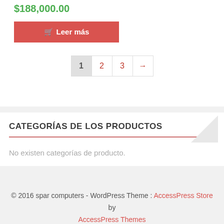$188,000.00
🛒 Leer más
1 2 3 →
CATEGORÍAS DE LOS PRODUCTOS
No existen categorías de producto.
© 2016 spar computers - WordPress Theme : AccessPress Store by AccessPress Themes